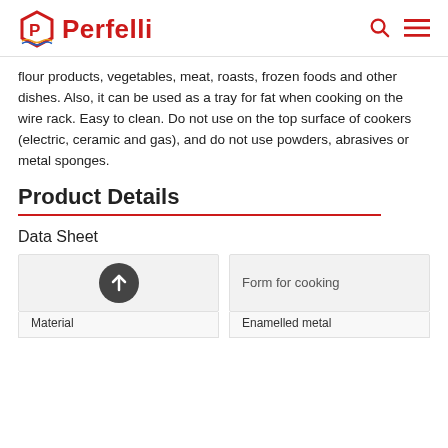Perfelli
flour products, vegetables, meat, roasts, frozen foods and other dishes. Also, it can be used as a tray for fat when cooking on the wire rack. Easy to clean. Do not use on the top surface of cookers (electric, ceramic and gas), and do not use powders, abrasives or metal sponges.
Product Details
Data Sheet
|  | Form for cooking |
| --- | --- |
| Material | Enamelled metal |